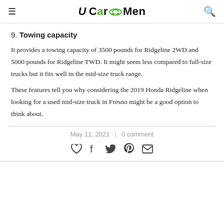U CarMen
9. Towing capacity
It provides a towing capacity of 3500 pounds for Ridgeline 2WD and 5000 pounds for Ridgeline TWD. It might seem less compared to full-size trucks but it fits well in the mid-size truck range.
These features tell you why considering the 2019 Honda Ridgeline when looking for a used mid-size truck in Fresno might be a good option to think about.
May 11, 2021  |  0 comment